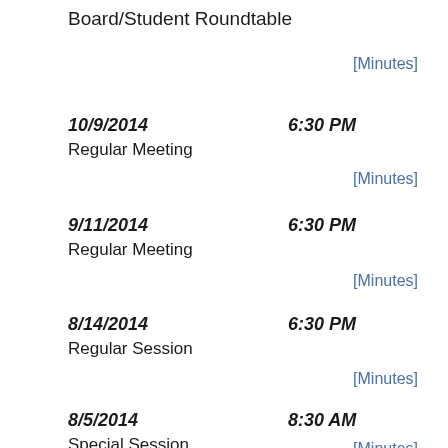Board/Student Roundtable
[Minutes]
10/9/2014   6:30 PM
Regular Meeting
[Minutes]
9/11/2014   6:30 PM
Regular Meeting
[Minutes]
8/14/2014   6:30 PM
Regular Session
[Minutes]
8/5/2014   8:30 AM
Special Session
[Minutes]